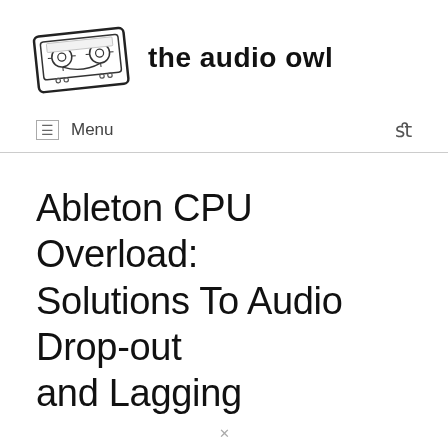[Figure (logo): Cassette tape illustration logo next to bold text 'the audio owl']
Menu
Ableton CPU Overload: Solutions To Audio Drop-out and Lagging